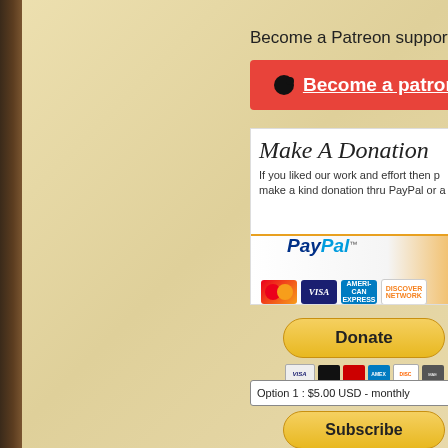Become a Patreon supporter:
[Figure (screenshot): Patreon red button with logo icon and 'Become a patron' underlined text]
[Figure (screenshot): Make A Donation section with PayPal banner, MasterCard, VISA, American Express, Discover card logos]
[Figure (screenshot): Yellow Donate button with payment card logos below (VISA, MasterCard, Maestro, Amex, Discover, etc.)]
[Figure (screenshot): Option 1: $5.00 USD - monthly dropdown, Subscribe yellow button, VISA, MasterCard, Amex, Discover logos]